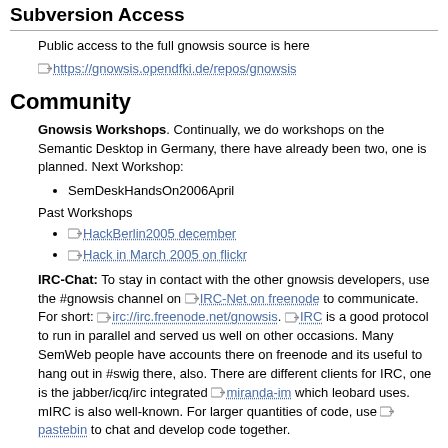Subversion Access
Public access to the full gnowsis source is here
https://gnowsis.opendfki.de/repos/gnowsis
Community
Gnowsis Workshops. Continually, we do workshops on the Semantic Desktop in Germany, there have already been two, one is planned. Next Workshop:
SemDeskHandsOn2006April
Past Workshops
HackBerlin2005 december
Hack in March 2005 on flickr
IRC-Chat: To stay in contact with the other gnowsis developers, use the #gnowsis channel on IRC-Net on freenode to communicate. For short: irc://irc.freenode.net/gnowsis. IRC is a good protocol to run in parallel and served us well on other occasions. Many SemWeb people have accounts there on freenode and its useful to hang out in #swig there, also. There are different clients for IRC, one is the jabber/icq/irc integrated miranda-im which leobard uses. mIRC is also well-known. For larger quantities of code, use pastebin to chat and develop code together.
Mailinglist: Messages about the state of gnowsis and to get in